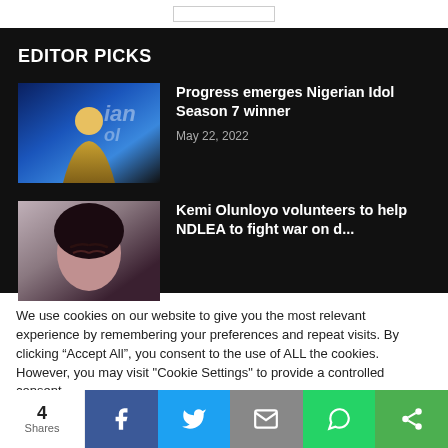EDITOR PICKS
[Figure (photo): Man smiling on stage at Nigerian Idol show]
Progress emerges Nigerian Idol Season 7 winner
May 22, 2022
[Figure (photo): Woman with eyes closed, partial view]
Kemi Olunloyo volunteers to help NDLEA to fight war on drugs
We use cookies on our website to give you the most relevant experience by remembering your preferences and repeat visits. By clicking “Accept All”, you consent to the use of ALL the cookies. However, you may visit "Cookie Settings" to provide a controlled consent.
4 Shares